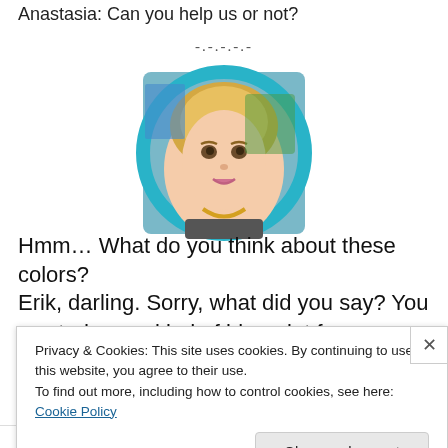Anastasia: Can you help us or not?
-.-.-.-.-
[Figure (illustration): Animated character portrait of a blonde woman in a circular teal magnifying glass frame, cartoon/game art style]
Hmm… What do you think about these colors?
Erik, darling. Sorry, what did you say? You wanted some kind of blueprint for a building?
Privacy & Cookies: This site uses cookies. By continuing to use this website, you agree to their use.
To find out more, including how to control cookies, see here: Cookie Policy
Close and accept